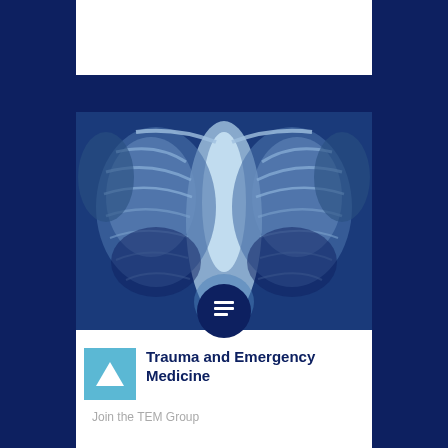[Figure (photo): Chest X-ray image showing ribcage and thoracic structures in blue tones]
Trauma and Emergency Medicine
Join the TEM Group